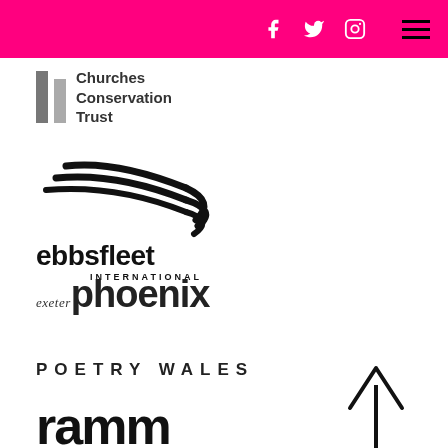Navigation bar with social icons (Facebook, Twitter, Instagram) and hamburger menu
[Figure (logo): Churches Conservation Trust logo with two grey pillars and bold text reading Churches Conservation Trust]
[Figure (logo): Ebbsfleet International logo with stylized wing/chevron marks above bold text 'ebbsfleet INTERNATIONAL']
[Figure (logo): Exeter Phoenix logo with italic small 'exeter' followed by large bold 'phoenix']
[Figure (logo): Poetry Wales logo in spaced uppercase letters: POETRY WALES]
[Figure (logo): RAMM logo in very large bold black lowercase letters 'ramm']
[Figure (other): Upward-pointing arrow (back to top button) in black]